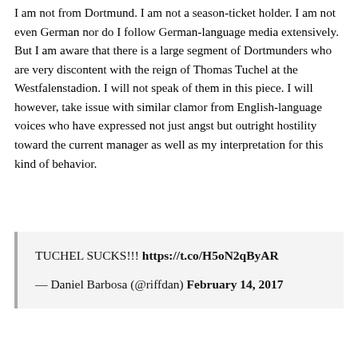I am not from Dortmund. I am not a season-ticket holder. I am not even German nor do I follow German-language media extensively. But I am aware that there is a large segment of Dortmunders who are very discontent with the reign of Thomas Tuchel at the Westfalenstadion. I will not speak of them in this piece. I will however, take issue with similar clamor from English-language voices who have expressed not just angst but outright hostility toward the current manager as well as my interpretation for this kind of behavior.
TUCHEL SUCKS!!! https://t.co/H5oN2qByAR
— Daniel Barbosa (@riffdan) February 14, 2017